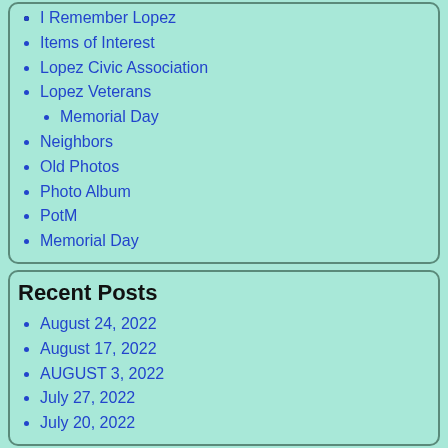I Remember Lopez
Items of Interest
Lopez Civic Association
Lopez Veterans
Memorial Day (sub-item)
Neighbors
Old Photos
Photo Album
PotM
Memorial Day
Recent Posts
August 24, 2022
August 17, 2022
AUGUST 3, 2022
July 27, 2022
July 20, 2022
Recent Comments
Frank boyd on How about a step back in time?
jay a witter on September 8, 2021
JOHN MCDONALD on June 16, 2021
Tally Rose Tierney on April 28, 2021